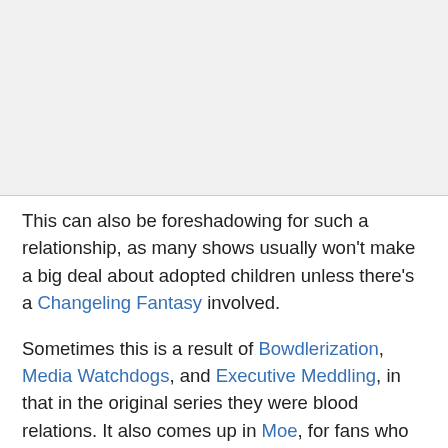[Figure (other): Gray blank area at top of page, likely image placeholder]
This can also be foreshadowing for such a relationship, as many shows usually won't make a big deal about adopted children unless there's a Changeling Fantasy involved.
Sometimes this is a result of Bowdlerization, Media Watchdogs, and Executive Meddling, in that in the original series they were blood relations. It also comes up in Moe, for fans who still feel a bit too squicky about it. First Girl Wins can sometimes explain the prevalence of this trope.
This trope is often related (but not by blood, of course) to